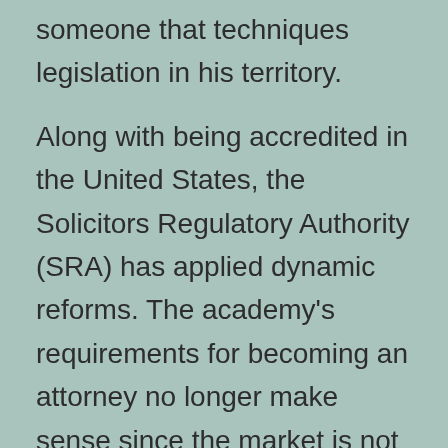someone that techniques legislation in his territory.
Along with being accredited in the United States, the Solicitors Regulatory Authority (SRA) has applied dynamic reforms. The academy's requirements for becoming an attorney no longer make sense since the market is not aligned with the Academy. Instead, legal representatives that are able to make the highest revenue are much better suited for the profession. Numerous lawyers are employed in legislation workplaces in a nation with a high number of legal